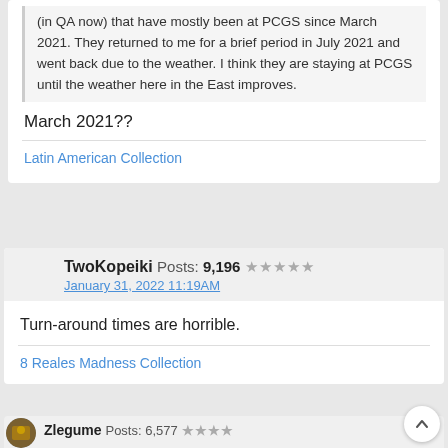(in QA now) that have mostly been at PCGS since March 2021. They returned to me for a brief period in July 2021 and went back due to the weather. I think they are staying at PCGS until the weather here in the East improves.
March 2021??
Latin American Collection
TwoKopeiki Posts: 9,196 ★★★★★
January 31, 2022 11:19AM
Turn-around times are horrible.
8 Reales Madness Collection
Zlegume Posts: 6,577